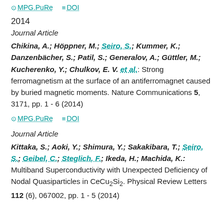MPG.PuRe   DOI
2014
Journal Article
Chikina, A.; Höppner, M.; Seiro, S.; Kummer, K.; Danzenbächer, S.; Patil, S.; Generalov, A.; Güttler, M.; Kucherenko, Y.; Chulkov, E. V. et al.: Strong ferromagnetism at the surface of an antiferromagnet caused by buried magnetic moments. Nature Communications 5, 3171, pp. 1 - 6 (2014)
MPG.PuRe   DOI
Journal Article
Kittaka, S.; Aoki, Y.; Shimura, Y.; Sakakibara, T.; Seiro, S.; Geibel, C.; Steglich, F.; Ikeda, H.; Machida, K.: Multiband Superconductivity with Unexpected Deficiency of Nodal Quasiparticles in CeCu2Si2. Physical Review Letters 112 (6), 067002, pp. 1 - 5 (2014)